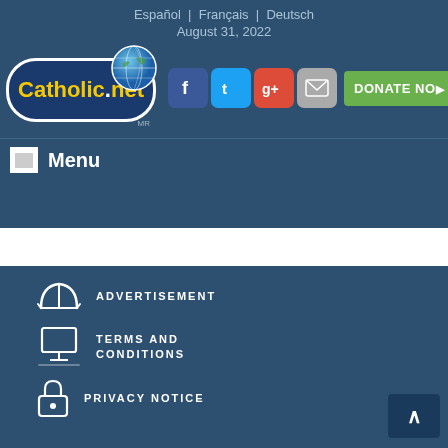Español | Français | Deutsch
August 31, 2022
[Figure (logo): Catholic.net logo with globe icon, social media icons (Facebook, Twitter, Google+, Mail), and DONATE NOW button]
Menu
Inappropriate ads? | ADVERTISEMENT
ADVERTISEMENT | TERMS AND CONDITIONS | PRIVACY NOTICE